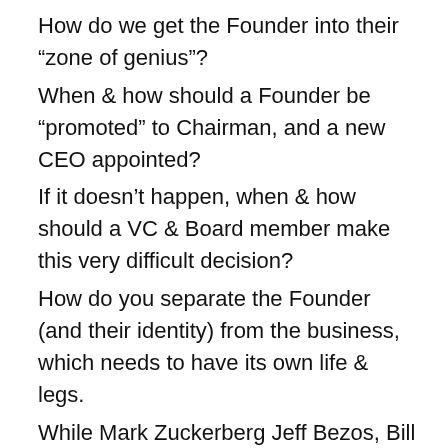How do we get the Founder into their “zone of genius”?
When & how should a Founder be “promoted” to Chairman, and a new CEO appointed?
If it doesn’t happen, when & how should a VC & Board member make this very difficult decision?
How do you separate the Founder (and their identity) from the business, which needs to have its own life & legs.
While Mark Zuckerberg Jeff Bezos, Bill Gates, Steve Jobs and Elon Musk went from Founder to CEO to Mega Industry Changer, that type of tenure is rare.